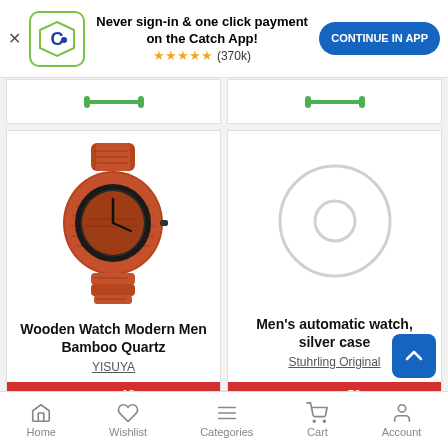[Figure (screenshot): App install banner with Catch logo, star rating, and Continue in App button]
[Figure (photo): Wooden Watch Modern Men Bamboo Quartz product image - red/brown wooden watch]
Wooden Watch Modern Men Bamboo Quartz
YISUYA
$46.18
[Figure (photo): Men's automatic watch, silver case - loading placeholder circle shown]
Men's automatic watch, silver case
Stuhrling Original
$302.50
[Figure (screenshot): Bottom navigation bar with Home, Wishlist, Categories, Cart, Account icons]